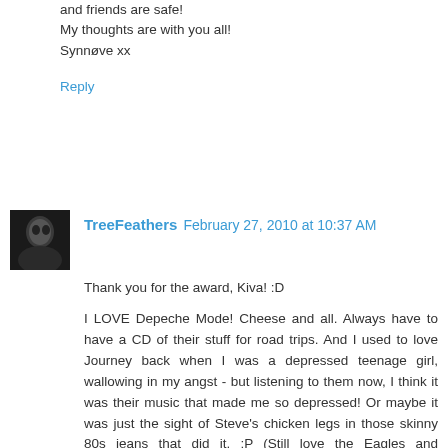and friends are safe!
My thoughts are with you all!
Synnøve xx
Reply
TreeFeathers  February 27, 2010 at 10:37 AM
Thank you for the award, Kiva! :D
I LOVE Depeche Mode! Cheese and all. Always have to have a CD of their stuff for road trips. And I used to love Journey back when I was a depressed teenage girl, wallowing in my angst - but listening to them now, I think it was their music that made me so depressed! Or maybe it was just the sight of Steve's chicken legs in those skinny 80s jeans that did it. :P (Still love the Eagles and Fleetwood Mac, though!)
- Grace
Reply